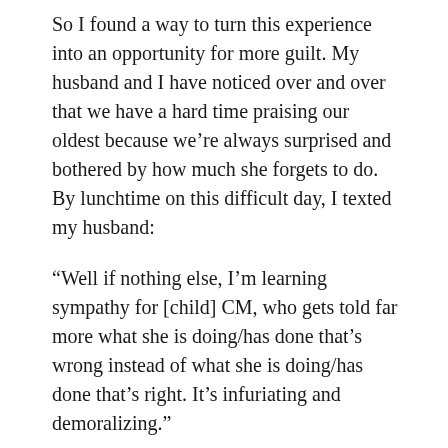So I found a way to turn this experience into an opportunity for more guilt. My husband and I have noticed over and over that we have a hard time praising our oldest because we're always surprised and bothered by how much she forgets to do. By lunchtime on this difficult day, I texted my husband:
“Well if nothing else, I’m learning sympathy for [child] CM, who gets told far more what she is doing/has done that’s wrong instead of what she is doing/has done that’s right. It’s infuriating and demoralizing.”
Not only did I feel infuriated and demoralized, I felt guilty because of the way I had gotten to that point. I didn’t even want to be in the NICU with my baby because I didn’t think I could handle being corrected one more time. I was afraid of the mess I would make if someone